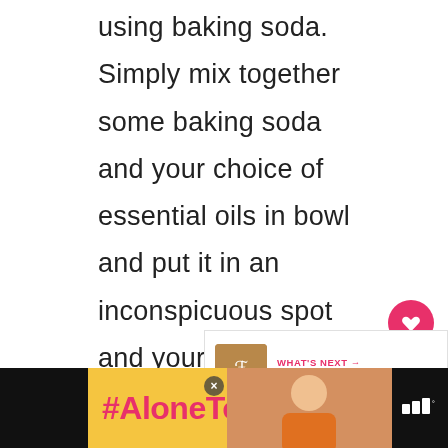using baking soda. Simply mix together some baking soda and your choice of essential oils in bowl and put it in an inconspicuous spot and your bathroom will be fresh-smelling for up to two months.
[Figure (other): Circular heart (favorite) button in pink/red, and a circular share button in white with shadow]
[Figure (other): What's Next promotional card showing a thumbnail image and text: WHAT'S NEXT → Buy One Get One FREE...]
[Figure (other): Advertisement banner: #AloneTogether in pink text on yellow background, with a photo of a person and a close button, and a logo on the right]